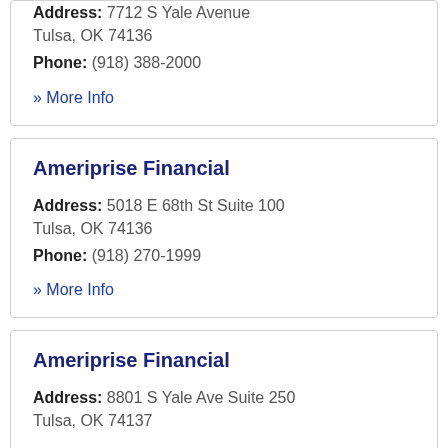Address: 7712 S Yale Avenue
Tulsa, OK 74136
Phone: (918) 388-2000
» More Info
Ameriprise Financial
Address: 5018 E 68th St Suite 100
Tulsa, OK 74136
Phone: (918) 270-1999
» More Info
Ameriprise Financial
Address: 8801 S Yale Ave Suite 250
Tulsa, OK 74137